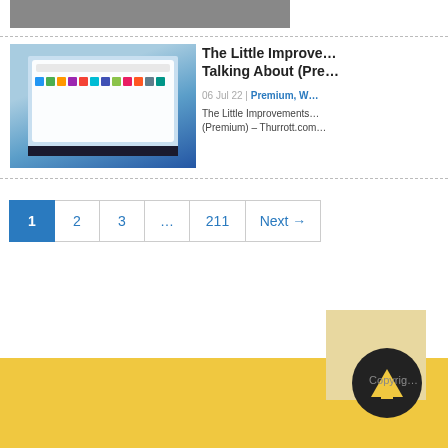[Figure (screenshot): Partial top image, cropped screenshot]
[Figure (screenshot): Windows 11 Start Menu screenshot]
The Little Improvements Nobody's Talking About (Pre...
06 Jul 22 | Premium, ...
The Little Improvements Nobody's Talking About (Premium) – Thurrott.com
[Figure (other): Pagination bar with page 1 active, 2, 3, ..., 211, Next →]
[Figure (other): Back to top button arrow circle on yellow/tan background]
Copyright